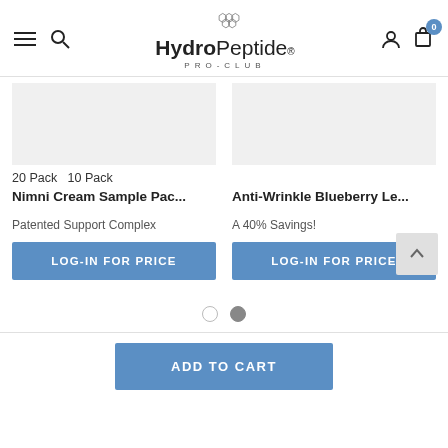HydroPeptide PRO-CLUB
20 Pack   10 Pack
Nimni Cream Sample Pac...
Anti-Wrinkle Blueberry Le...
Patented Support Complex
A 40% Savings!
LOG-IN FOR PRICE
LOG-IN FOR PRICE
ADD TO CART